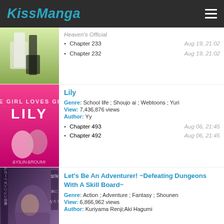KissManga
[Figure (illustration): Partial manga cover showing wedding scene with couple, cut off at top]
Chapter 233 — Aug 19, 21:02
Chapter 232 — Aug 19, 21:02
[Figure (illustration): Manga cover for Lily showing two girls on pink background with title LILY]
Lily
Genre: School life ; Shoujo ai ; Webtoons ; Yuri
View: 7,436,876 views
Author: Yy
Chapter 493 — Aug 06, 21:45
Chapter 492 — Aug 06, 21:45
[Figure (illustration): Manga cover for Let's Be An Adventurer featuring fantasy characters with dark purple background]
Let's Be An Adventurer! ~Defeating Dungeons With A Skill Board~
Genre: Action ; Adventure ; Fantasy ; Shounen
View: 6,866,962 views
Author: Kuriyama Renji;Aki Hagumi